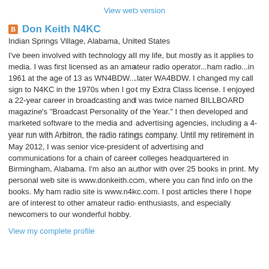View web version
Don Keith N4KC
Indian Springs Village, Alabama, United States
I've been involved with technology all my life, but mostly as it applies to media. I was first licensed as an amateur radio operator...ham radio...in 1961 at the age of 13 as WN4BDW...later WA4BDW. I changed my call sign to N4KC in the 1970s when I got my Extra Class license. I enjoyed a 22-year career in broadcasting and was twice named BILLBOARD magazine's "Broadcast Personality of the Year." I then developed and marketed software to the media and advertising agencies, including a 4-year run with Arbitron, the radio ratings company. Until my retirement in May 2012, I was senior vice-president of advertising and communications for a chain of career colleges headquartered in Birmingham, Alabama. I'm also an author with over 25 books in print. My personal web site is www.donkeith.com, where you can find info on the books. My ham radio site is www.n4kc.com. I post articles there I hope are of interest to other amateur radio enthusiasts, and especially newcomers to our wonderful hobby.
View my complete profile